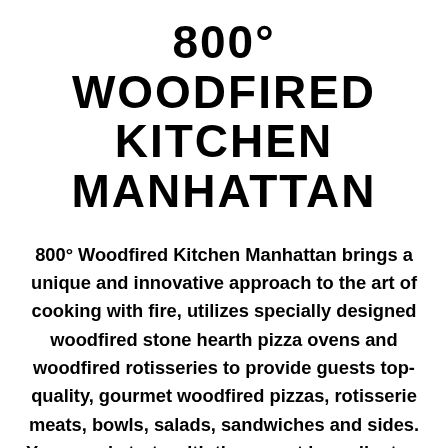800° WOODFIRED KITCHEN MANHATTAN
800° Woodfired Kitchen Manhattan brings a unique and innovative approach to the art of cooking with fire, utilizes specially designed woodfired stone hearth pizza ovens and woodfired rotisseries to provide guests top-quality, gourmet woodfired pizzas, rotisserie meats, bowls, salads, sandwiches and sides. Your meal starts with the purest ingredients – scratch dough, the freshest seafood from around the globe, local produce and artisan-quality meats and cheeses sourced from top purveyors across the